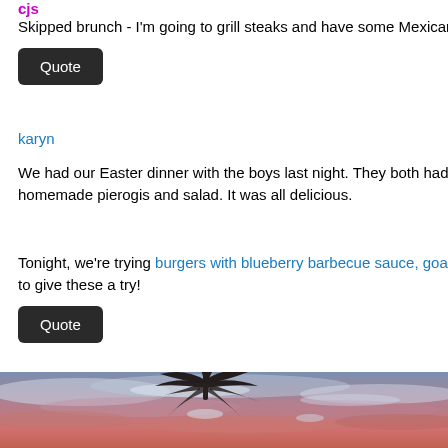cjs
Skipped brunch - I'm going to grill steaks and have some Mexican rice
Quote
karyn
We had our Easter dinner with the boys last night. They both had to be homemade pierogis and salad. It was all delicious.
Tonight, we're trying burgers with blueberry barbecue sauce, goat chee to give these a try!
Quote
[Figure (photo): Sunset sky with pink and purple clouds and silhouette of palm tree branches at the top]